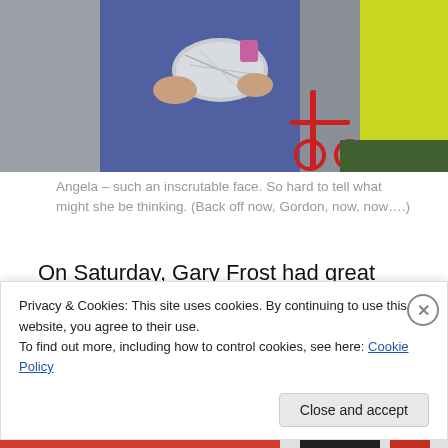[Figure (photo): People holding something wrapped in foil, with a bicycle in the background. A person in a yellow jacket is visible on the right.]
Angela – such an inscrutable face. So hard to tell what might she be thinking. (Back off now, Gordon, now, now….)
On Saturday, Gary Frost had great plans and organised a 2km or 4km swim.  Really, he organised everything and rounded up the crowds.  Didn't quite go to plan.
[Figure (photo): Landscape photo showing a cloudy sky and water/horizon.]
Privacy & Cookies: This site uses cookies. By continuing to use this website, you agree to their use.
To find out more, including how to control cookies, see here: Cookie Policy